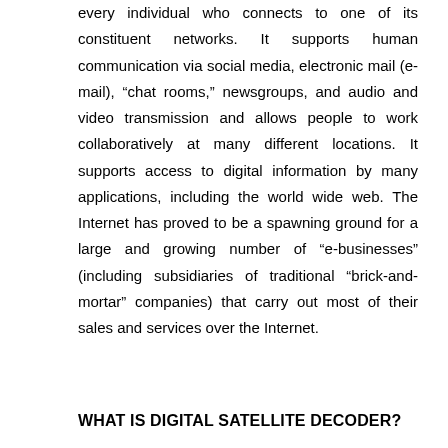every individual who connects to one of its constituent networks. It supports human communication via social media, electronic mail (e-mail), "chat rooms," newsgroups, and audio and video transmission and allows people to work collaboratively at many different locations. It supports access to digital information by many applications, including the world wide web. The Internet has proved to be a spawning ground for a large and growing number of "e-businesses" (including subsidiaries of traditional "brick-and-mortar" companies) that carry out most of their sales and services over the Internet.
WHAT IS DIGITAL SATELLITE DECODER?